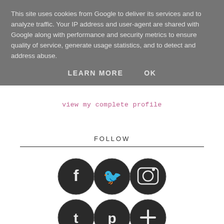This site uses cookies from Google to deliver its services and to analyze traffic. Your IP address and user-agent are shared with Google along with performance and security metrics to ensure quality of service, generate usage statistics, and to detect and address abuse.
LEARN MORE    OK
view my complete profile
FOLLOW
[Figure (infographic): Six circular social media icons in two rows: Facebook, Twitter, Instagram (top row); Tumblr, Pinterest, Google+ (bottom row). Icons have a dark textured/grunge appearance.]